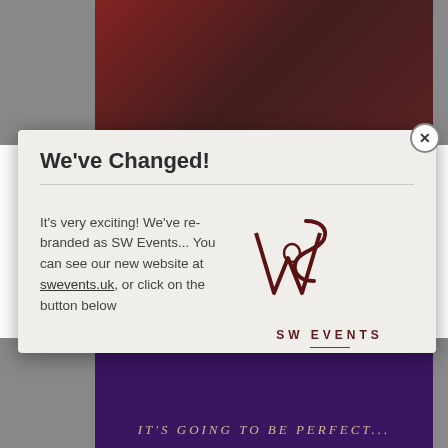[Figure (screenshot): Background website page showing a dark red/maroon photo at top and a purple/dark photo at bottom with text 'IT'S GOING TO BE PERFECT...']
We've Changed!
It's very exciting! We've re-branded as SW Events... You can see our new website at swevents.uk, or click on the button below
[Figure (logo): SW Events logo - stylized monogram with S, W letters intertwined in dark red/maroon, with text 'SW EVENTS' and 'WEDDINGS AND EVENTS' below]
VISIT THE NEW WEBSITE